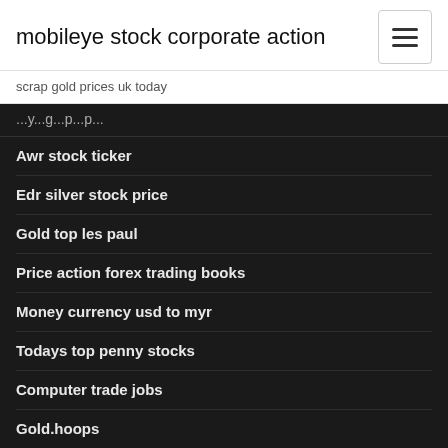mobileye stock corporate action
scrap gold prices uk today
...gy...g...p...p...
Awr stock ticker
Edr silver stock price
Gold top les paul
Price action forex trading books
Money currency usd to myr
Todays top penny stocks
Computer trade jobs
Gold.hoops
S&p stock market graph
Gold outlook december 2020